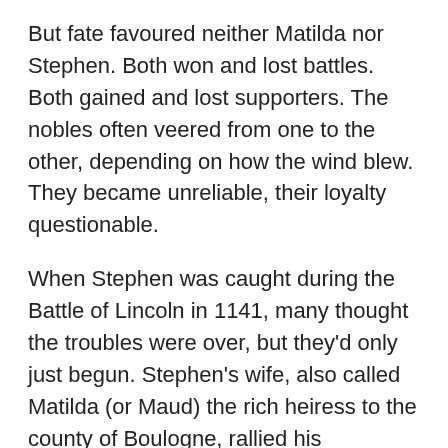But fate favoured neither Matilda nor Stephen. Both won and lost battles. Both gained and lost supporters. The nobles often veered from one to the other, depending on how the wind blew. They became unreliable, their loyalty questionable.
When Stephen was caught during the Battle of Lincoln in 1141, many thought the troubles were over, but they'd only just begun. Stephen's wife, also called Matilda (or Maud) the rich heiress to the county of Boulogne, rallied his supporters with the help of Flemish mercenaries. The south east was strongly in his favour, and even the Empress Matilda's attempts to have herself crowned Queen of England failed when Queen Maud's troops rallied the Londoners, and Matilda was chased out of the city.